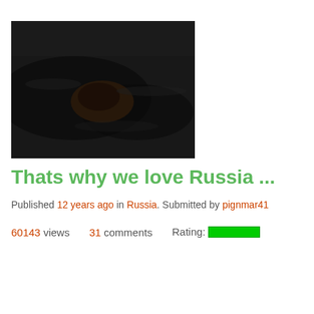[Figure (photo): Dark video thumbnail showing a dimly lit outdoor scene, appears to show water or ground with a dark shape in the center]
Thats why we love Russia ...
Published 12 years ago in Russia. Submitted by pignmar41
60143 views   31 comments   Rating: [green bar]